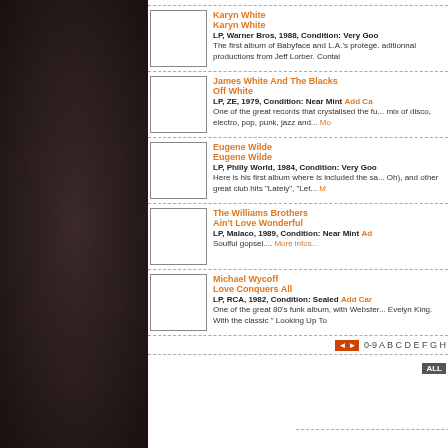[Figure (illustration): Dark brown decorative left panel with floral/starburst pattern]
Karyn White / Karyn White - LP, Warner Bros, 1988, Condition: Very Good - The first album of Babyface and L.A.'s protege. aditionnal productions from Jeff Lorber. Contai...
James White And The Blacks / Off White - LP, ZE, 1979, Condition: Near Mint - One of the great records that crystalised the fu... mix of disco, electro, pop, punk, jazz and... Mo...
Eugene Wilde / Eugene Wilde - LP, Philly World, 1984, Condition: Very Goo... - Here is his first album where is included the sa... Oh), and other great club hits "Lately", "Let... M
The Williams Brothers / Ain't Love Wonderful - LP, Malaco, 1989, Condition: Near Mint - Soulful gopsel.... More infos...
Michael Wycoff / Love Conquers All - LP, RCA, 1982, Condition: Sealed - One of the great 80's funk album, with Webster... Evelyn King. With the classic " Looking Up To
0-9 A B C D E F G H
Copyright © 2004-2011, Grooveo...